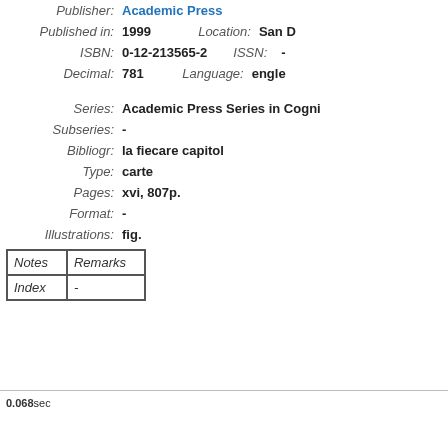Publisher: Academic Press
Published in: 1999   Location: San D
ISBN: 0-12-213565-2   ISSN: -
Decimal: 781   Language: engle
Series: Academic Press Series in Cogni
Subseries: -
Bibliogr: la fiecare capitol
Type: carte
Pages: xvi, 807p.
Format: -
Illustrations: fig.
| Notes | Remarks |
| --- | --- |
| Index | - |
0.068sec